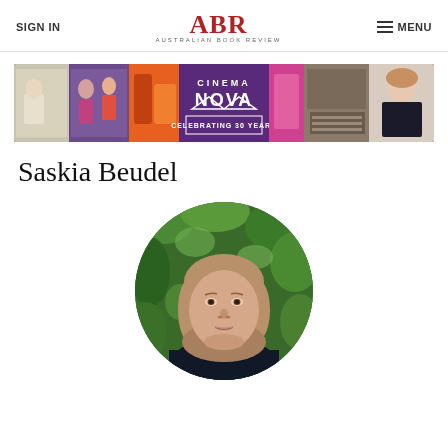SIGN IN | ABR Australian Book Review | MENU
[Figure (illustration): Cinema Nova - Celebrating 30 Years banner advertisement with collage of film stills]
Saskia Beudel
[Figure (photo): Circular portrait photo of Saskia Beudel, a woman with light brown hair, outdoors with green foliage background]